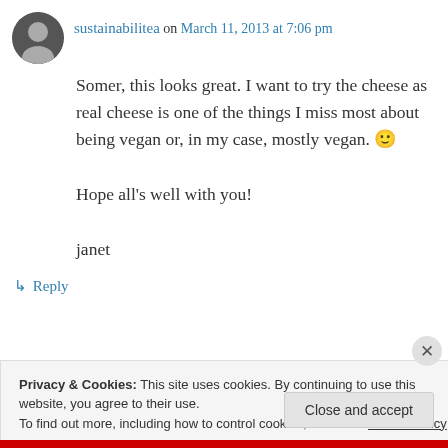sustainabilitea on March 11, 2013 at 7:06 pm
Somer, this looks great. I want to try the cheese as real cheese is one of the things I miss most about being vegan or, in my case, mostly vegan. 🙂

Hope all's well with you!

janet
↳ Reply
Privacy & Cookies: This site uses cookies. By continuing to use this website, you agree to their use.
To find out more, including how to control cookies, see here: Cookie Policy
Close and accept